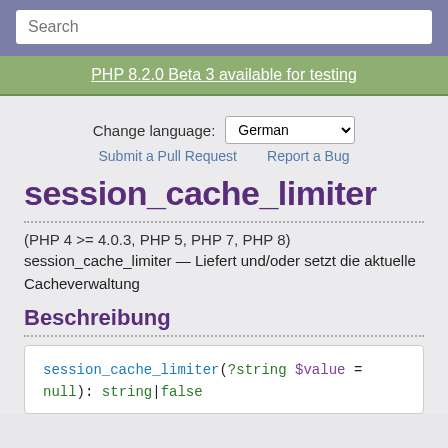Search
PHP 8.2.0 Beta 3 available for testing
Change language: German
Submit a Pull Request   Report a Bug
session_cache_limiter
(PHP 4 >= 4.0.3, PHP 5, PHP 7, PHP 8)
session_cache_limiter — Liefert und/oder setzt die aktuelle Cacheverwaltung
Beschreibung